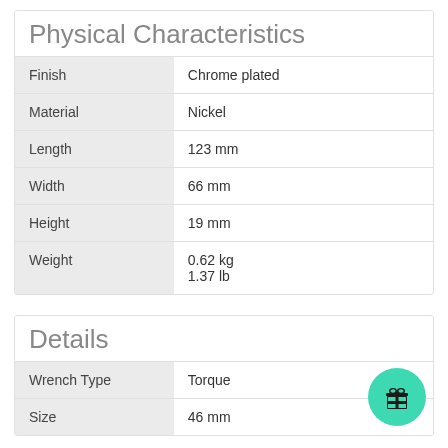Physical Characteristics
| Property | Value |
| --- | --- |
| Finish | Chrome plated |
| Material | Nickel |
| Length | 123 mm |
| Width | 66 mm |
| Height | 19 mm |
| Weight | 0.62 kg
1.37 lb |
Details
| Property | Value |
| --- | --- |
| Wrench Type | Torque |
| Size | 46 mm |